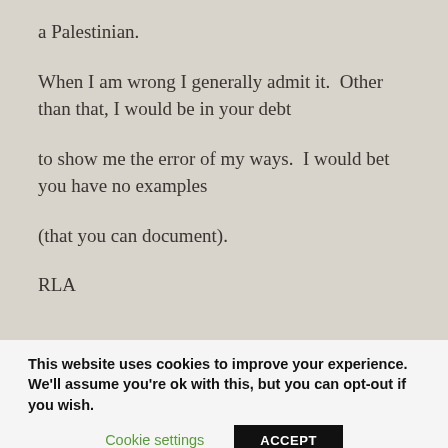a Palestinian.
When I am wrong I generally admit it.  Other than that, I would be in your debt
to show me the error of my ways.  I would bet you have no examples
(that you can document).
RLA
This website uses cookies to improve your experience. We'll assume you're ok with this, but you can opt-out if you wish. Cookie settings ACCEPT